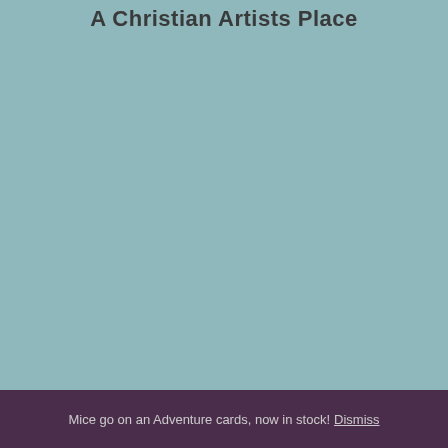A Christian Artists Place
Mice go on an Adventure cards, now in stock! Dismiss